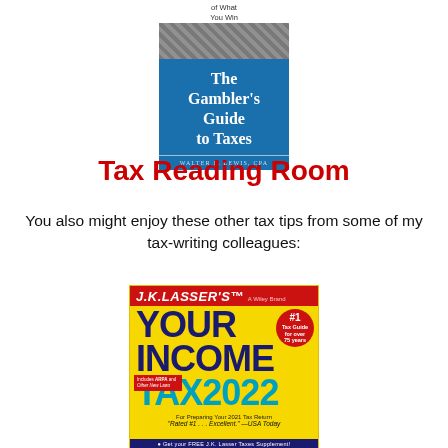[Figure (illustration): Book cover of 'The Gambler's Guide to Taxes' by Walter L. Lewis, CPA. Shows a blue cover with coins imagery at top.]
Tax Reading Room
You also might enjoy these other tax tips from some of my tax-writing colleagues:
[Figure (illustration): Book cover of J.K. Lasser's 'Your Income Tax 2022' by Wiley. Yellow cover with dark blue and teal text, red header, red badge saying #1 Tax Guide for over 75 years, text: For Preparing Your 2021 Tax Return, 'Rated #1 ... Excellent.' —USA Today]